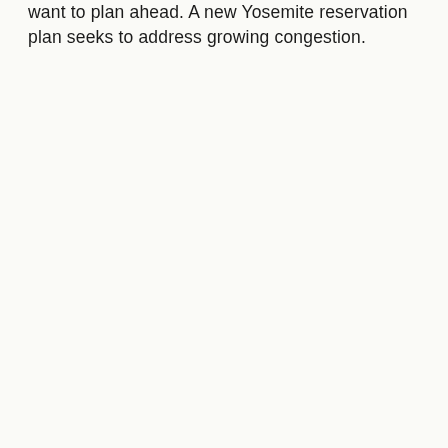want to plan ahead. A new Yosemite reservation plan seeks to address growing congestion.